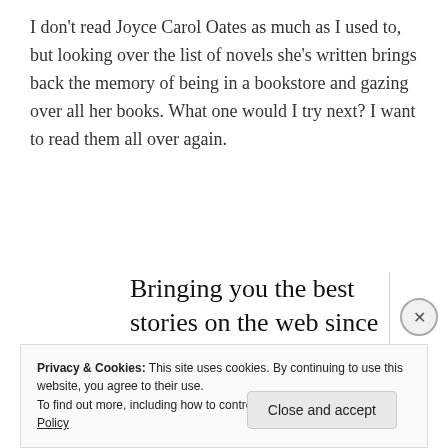I don't read Joyce Carol Oates as much as I used to, but looking over the list of novels she's written brings back the memory of being in a bookstore and gazing over all her books. What one would I try next? I want to read them all over again.
Bringing you the best stories on the web since 2009.
Start reading
Privacy & Cookies: This site uses cookies. By continuing to use this website, you agree to their use.
To find out more, including how to control cookies, see here: Cookie Policy
Close and accept